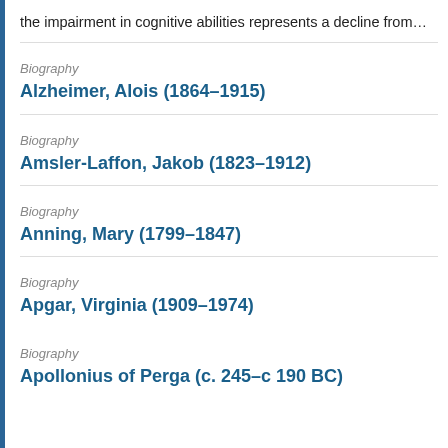the impairment in cognitive abilities represents a decline from…
Biography
Alzheimer, Alois (1864–1915)
Biography
Amsler-Laffon, Jakob (1823–1912)
Biography
Anning, Mary (1799–1847)
Biography
Apgar, Virginia (1909–1974)
Biography
Apollonious of Perga (c. 245–c 190 BC)